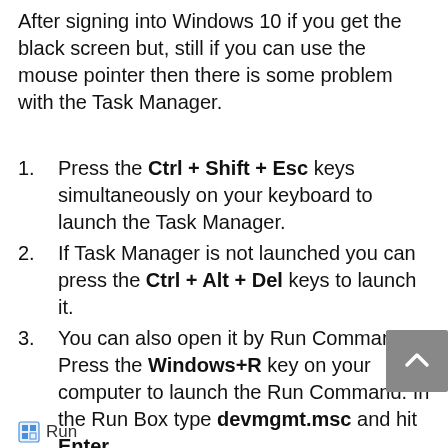After signing into Windows 10 if you get the black screen but, still if you can use the mouse pointer then there is some problem with the Task Manager.
Press the Ctrl + Shift + Esc keys simultaneously on your keyboard to launch the Task Manager.
If Task Manager is not launched you can press the Ctrl + Alt + Del keys to launch it.
You can also open it by Run Command. Press the Windows+R key on your computer to launch the Run Command. In the Run Box type devmgmt.msc and hit Enter.